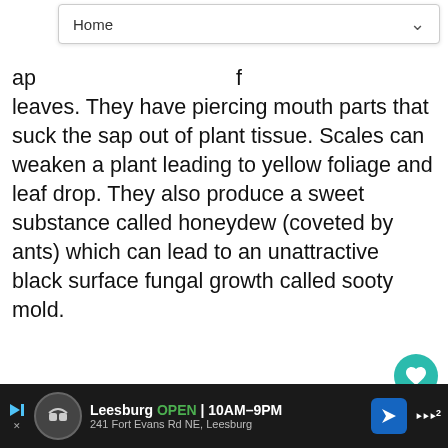Home
ap... leaves. They have piercing mouth parts that suck the sap out of plant tissue. Scales can weaken a plant leading to yellow foliage and leaf drop. They also produce a sweet substance called honeydew (coveted by ants) which can lead to an unattractive black surface fungal growth called sooty mold.
Prevention and Control: Once established they are hard to control. Isolate infested plants away from those that are not infested. Consult your local garden center professional or Cooperative Extension office in your county for a legal recommendation regarding their control...
[Figure (screenshot): Mobile web browser screenshot showing navigation bar with Home label and chevron, a favorite/heart button, like count of 1, share button, and a What's Next panel showing Grasses, Ornamental... with a thumbnail image]
[Figure (screenshot): Ad banner at bottom: Leesburg store ad showing OPEN 10AM-9PM, 241 Fort Evans Rd NE Leesburg, with navigation arrow icon and Sievert logo]